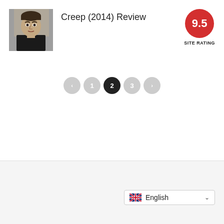[Figure (photo): Movie poster or still from Creep (2014) showing a man in a dark jacket against a curtained background]
Creep (2014) Review
[Figure (infographic): Red circular site rating badge showing 9.5 with label SITE RATING]
[Figure (infographic): Pagination controls showing back arrow, page 1, page 2 (active/selected in black), page 3, forward arrow]
[Figure (infographic): Language selector dropdown showing UK flag and English text with chevron]